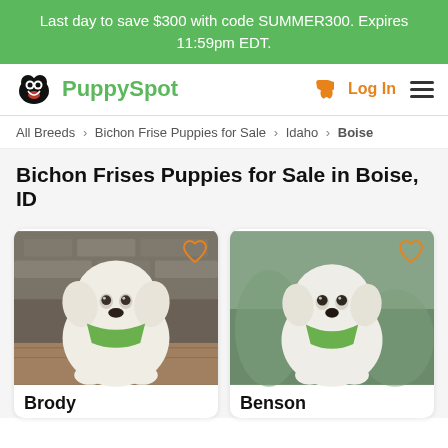Last day to save $300 with code SUMMER300. Expires 11:59pm EDT.
[Figure (logo): PuppySpot logo with dog icon and navigation bar including phone icon, Log In, and hamburger menu]
All Breeds > Bichon Frise Puppies for Sale > Idaho > Boise
Bichon Frises Puppies for Sale in Boise, ID
[Figure (photo): White Bichon Frise puppy wearing a green bandana, sitting on a wooden surface against a stone wall background. Heart/favorite icon in top right corner.]
[Figure (photo): White Bichon Frise puppy wearing a green bandana, sitting and looking at camera. Heart/favorite icon in top right corner.]
Brody
Benson